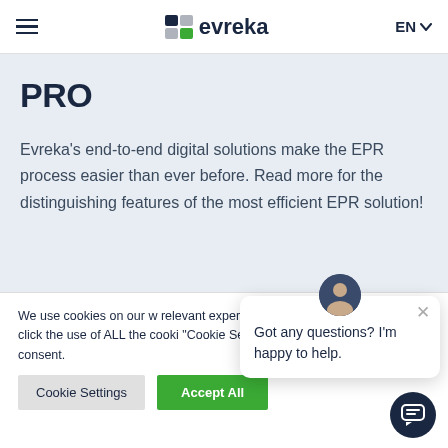evreka  EN
PRO
Evreka's end-to-end digital solutions make the EPR process easier than ever before. Read more for the distinguishing features of the most efficient EPR solution!
We use cookies on our w... relevant experience by r... and repeat visits. By click... the use of ALL the cooki... "Cookie Settings" to provide a controlled consent.
Got any questions? I'm happy to help.